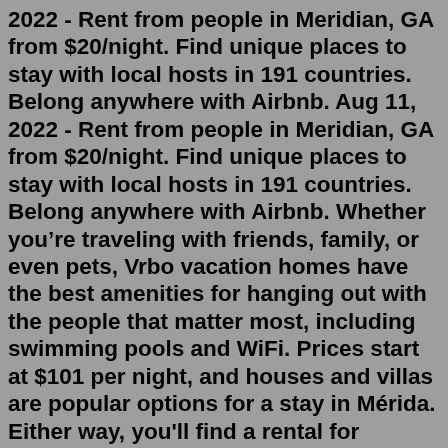2022 - Rent from people in Meridian, GA from $20/night. Find unique places to stay with local hosts in 191 countries. Belong anywhere with Airbnb. Aug 11, 2022 - Rent from people in Meridian, GA from $20/night. Find unique places to stay with local hosts in 191 countries. Belong anywhere with Airbnb. Whether you’re traveling with friends, family, or even pets, Vrbo vacation homes have the best amenities for hanging out with the people that matter most, including swimming pools and WiFi. Prices start at $101 per night, and houses and villas are popular options for a stay in Mérida. Either way, you'll find a rental for everyone's needs. ENJOY THE HISTORY, NOSTALGIA AND CULTURE OF OLD TOWN MERIDIAN Sleeps 4 · 2 Bedrooms · 1 Bathroom $101 avg/night (49) Immaculate, bright & airy newly updated home in gorgeous Meridian next to Boise! Sleeps 6 · 2 Bedrooms · 1 Bathroom $135 avg/night (27) Relaxing and Comfortable Sleeps 6 · 3 Bedrooms · 2 Bathrooms $83 avg/night (26) Spectacular Oceanfront Condo at Meridian Plaza $91 avg/night